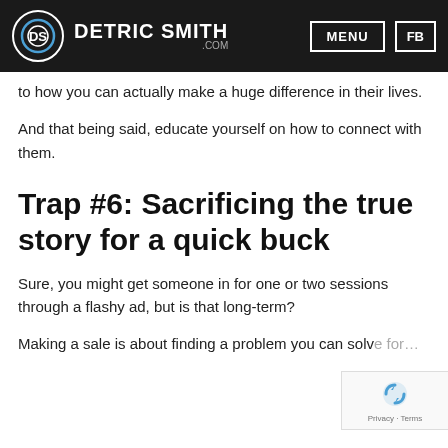DETRIC SMITH .COM | MENU | FB
to how you can actually make a huge difference in their lives.
And that being said, educate yourself on how to connect with them.
Trap #6: Sacrificing the true story for a quick buck
Sure, you might get someone in for one or two sessions through a flashy ad, but is that long-term?
Making a sale is about finding a problem you can solve for…